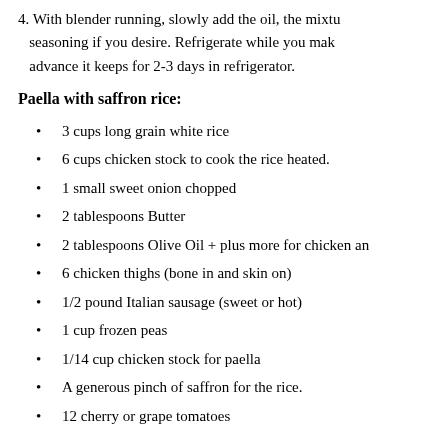4. With blender running, slowly add the oil, the mixture seasoning if you desire. Refrigerate while you make advance it keeps for 2-3 days in refrigerator.
Paella with saffron rice:
3 cups long grain white rice
6 cups chicken stock to cook the rice heated.
1 small sweet onion chopped
2 tablespoons Butter
2 tablespoons Olive Oil + plus more for chicken an
6 chicken thighs (bone in and skin on)
1/2 pound Italian sausage (sweet or hot)
1 cup frozen peas
1/14 cup chicken stock for paella
A generous pinch of saffron for the rice.
12 cherry or grape tomatoes